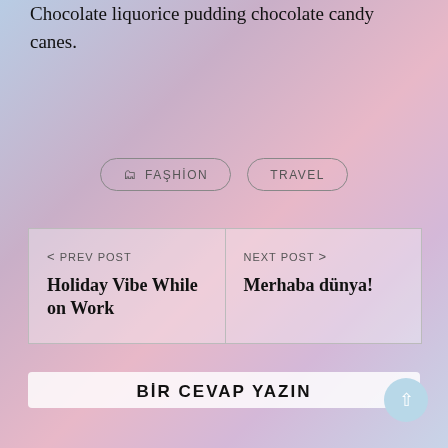Chocolate liquorice pudding chocolate candy canes.
FASHION
TRAVEL
< PREV POST
Holiday Vibe While on Work
NEXT POST >
Merhaba dünya!
BİR CEVAP YAZIN